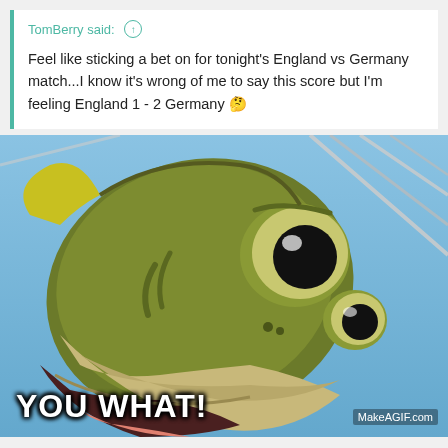TomBerry said: ↑
Feel like sticking a bet on for tonight's England vs Germany match...I know it's wrong of me to say this score but I'm feeling England 1 - 2 Germany 🤔
[Figure (illustration): Meme image of a surprised cartoon fish (from SpongeBob SquarePants) with large eyes and open mouth, with the text 'YOU WHAT!' overlaid at the bottom left, and 'MakeAGIF.com' watermark at the bottom right.]
YOU WHAT!
MakeAGIF.com